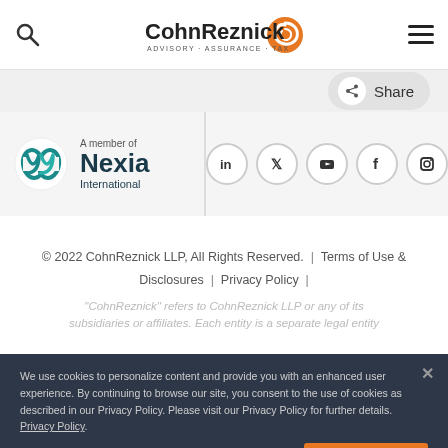[Figure (logo): CohnReznick logo with orange swirl icon and tagline 'ADVISORY · ASSURANCE · TAX']
[Figure (logo): Nexia International member logo with teal double-N icon]
© 2022 CohnReznick LLP, All Rights Reserved.   |   Terms of Use & Disclosures   |   Privacy Policy   |
"CohnReznick" refers to CohnReznick LLP or any of its subsidiaries or affiliates. Each entity is a separate legal entity
We use cookies to personalize content and provide you with an enhanced user experience. By continuing to browse our site, you consent to the use of cookies as described in our Privacy Policy. Please visit our Privacy Policy for further details. Privacy Policy
Do Not Sell My Personal Information
Accept All Cookies